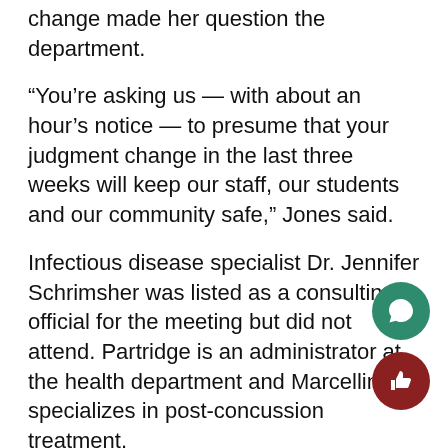change made her question the department.
“You’re asking us — with about an hour’s notice — to presume that your judgment change in the last three weeks will keep our staff, our students and our community safe,” Jones said.
Infectious disease specialist Dr. Jennifer Schrimsher was listed as a consulting official for the meeting but did not attend. Partridge is an administrator at the health department and Marcellino specializes in post-concussion treatment.
The health officials pointed to the safety requirements the district has students follow as a reason to continue in-person learning.
“I think there was a lot of concern [about] can schools do it?” Marcellino said. “If we’re able to space and we’re able to use masks with good